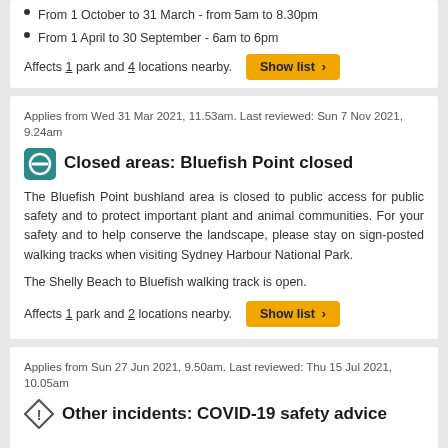From 1 October to 31 March - from 5am to 8.30pm
From 1 April to 30 September - 6am to 6pm
Affects 1 park and 4 locations nearby.
Applies from Wed 31 Mar 2021, 11.53am. Last reviewed: Sun 7 Nov 2021, 9.24am
Closed areas: Bluefish Point closed
The Bluefish Point bushland area is closed to public access for public safety and to protect important plant and animal communities. For your safety and to help conserve the landscape, please stay on sign-posted walking tracks when visiting Sydney Harbour National Park.
The Shelly Beach to Bluefish walking track is open.
Affects 1 park and 2 locations nearby.
Applies from Sun 27 Jun 2021, 9.50am. Last reviewed: Thu 15 Jul 2021, 10.05am
Other incidents: COVID-19 safety advice